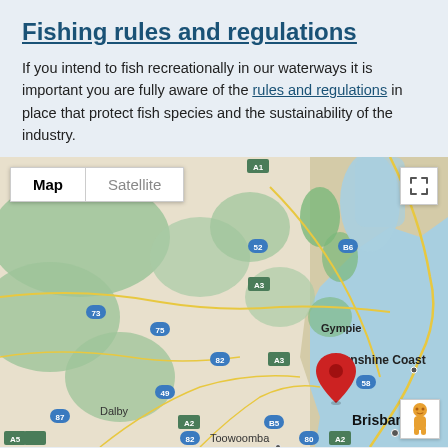Fishing rules and regulations
If you intend to fish recreationally in our waterways it is important you are fully aware of the rules and regulations in place that protect fish species and the sustainability of the industry.
[Figure (map): Google Maps view centered on South East Queensland, Australia showing Gympie, Sunshine Coast, Toowoomba, Dalby, and Brisbane with a red map pin marker placed near the Sunshine Coast/Brisbane area. Map and Satellite toggle buttons visible in top-left corner.]